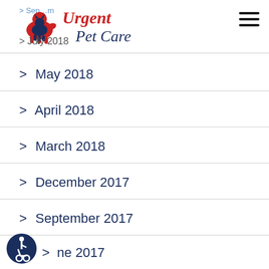Urgent Pet Care
> September m
> July 2018
> May 2018
> April 2018
> March 2018
> December 2017
> September 2017
> July 2017
> June 2017